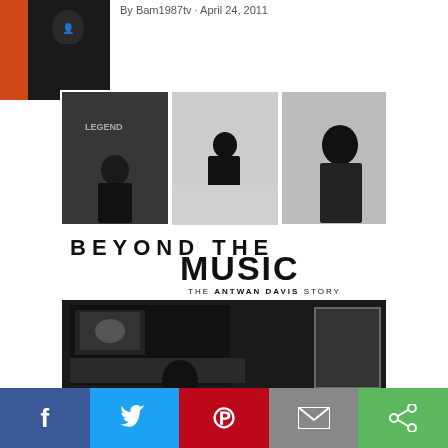[Figure (photo): Small avatar/profile photo of a person in black clothing against an orange background]
By Bam1987tv · April 24, 2011
[Figure (photo): Album cover art for 'Beyond the Music: The Antwan Davis Story' featuring black and white collage photos of people in a studio and playing pool, with large text 'BEYOND THE MUSIC' and 'THE ANTWAN DAVIS STORY' subtitle, and a Parental Advisory label]
Facebook | Twitter | Pinterest | Email | Share